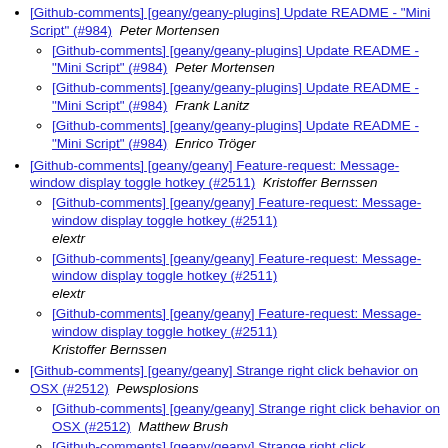[Github-comments] [geany/geany-plugins] Update README - "Mini Script" (#984)  Peter Mortensen
[Github-comments] [geany/geany-plugins] Update README - "Mini Script" (#984)  Peter Mortensen
[Github-comments] [geany/geany-plugins] Update README - "Mini Script" (#984)  Frank Lanitz
[Github-comments] [geany/geany-plugins] Update README - "Mini Script" (#984)  Enrico Tröger
[Github-comments] [geany/geany] Feature-request: Message-window display toggle hotkey (#2511)  Kristoffer Bernssen
[Github-comments] [geany/geany] Feature-request: Message-window display toggle hotkey (#2511)  elextr
[Github-comments] [geany/geany] Feature-request: Message-window display toggle hotkey (#2511)  elextr
[Github-comments] [geany/geany] Feature-request: Message-window display toggle hotkey (#2511)  Kristoffer Bernssen
[Github-comments] [geany/geany] Strange right click behavior on OSX (#2512)  Pewsplosions
[Github-comments] [geany/geany] Strange right click behavior on OSX (#2512)  Matthew Brush
[Github-comments] [geany/geany] Strange right click